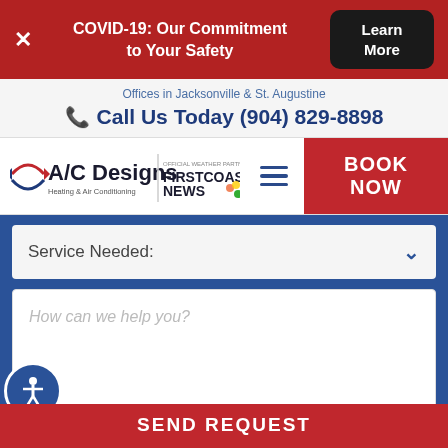COVID-19: Our Commitment to Your Safety  Learn More
Offices in Jacksonville & St. Augustine
Call Us Today (904) 829-8898
[Figure (logo): A/C Designs Heating & Air Conditioning logo with First Coast News Official Weather Partner badge]
BOOK NOW
Service Needed:
How can we help you?
Add me to your email list for tips and promos
SEND REQUEST